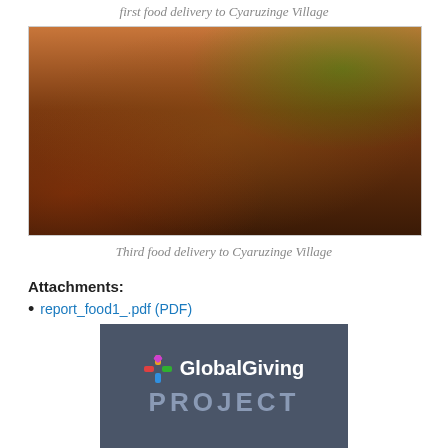first food delivery to Cyaruzinge Village
[Figure (photo): Group photo of people wearing masks celebrating and raising food bags overhead, indoors with warm brown walls, first food delivery to Cyaruzinge Village]
Third food delivery to Cyaruzinge Village
Attachments:
report_food1_.pdf (PDF)
[Figure (logo): GlobalGiving logo with colorful asterisk icon followed by 'GlobalGiving' in white text and 'PROJECT' in large muted blue-grey letters below, on dark slate background]